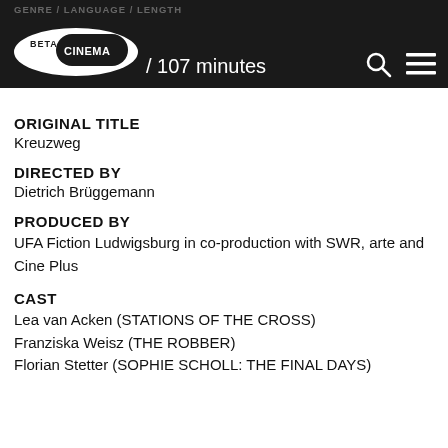GENRE / LANGUAGE / LENGTH
[Figure (logo): Beta Cinema logo - oval white shape with BETA CINEMA text inside on dark background]
/ 107 minutes
ORIGINAL TITLE
Kreuzweg
DIRECTED BY
Dietrich Brüggemann
PRODUCED BY
UFA Fiction Ludwigsburg in co-production with SWR, arte and Cine Plus
CAST
Lea van Acken (STATIONS OF THE CROSS)
Franziska Weisz (THE ROBBER)
Florian Stetter (SOPHIE SCHOLL: THE FINAL DAYS)